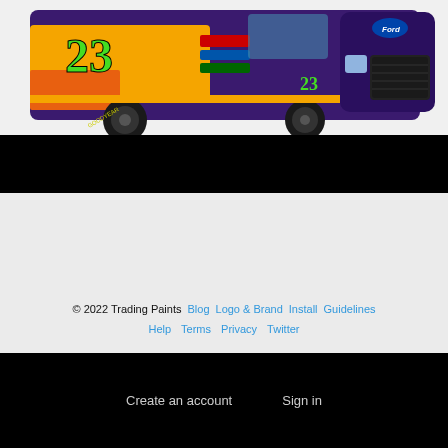[Figure (photo): NASCAR truck #23 with purple, yellow and orange livery with Ford branding and Goodyear tires, shown on white background]
© 2022 Trading Paints  Blog  Logo & Brand  Install  Guidelines  Help  Terms  Privacy  Twitter
Create an account   Sign in